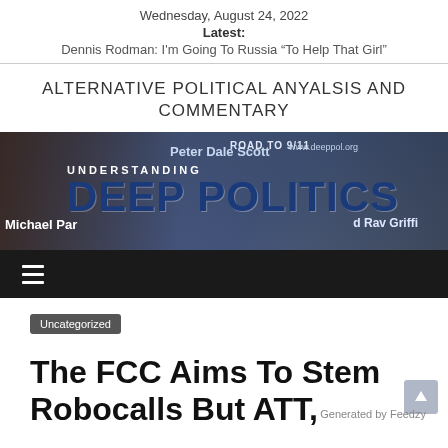Wednesday, August 24, 2022
Latest:
Dennis Rodman: I'm Going To Russia “To Help That Girl”
ALTERNATIVE POLITICAL ANYALSIS AND COMMENTARY
[Figure (illustration): Understanding Deep Politics banner image with text 'UNDERSTANDING DEEP POLITICS', featuring names Michael Par[enti], Peter Dale Scott, and Ray Griff[in], plus website www.deeppol.org and Road to 9/11 text]
Uncategorized
The FCC Aims To Stem Robocalls But ATT,
Generated by Feedzy